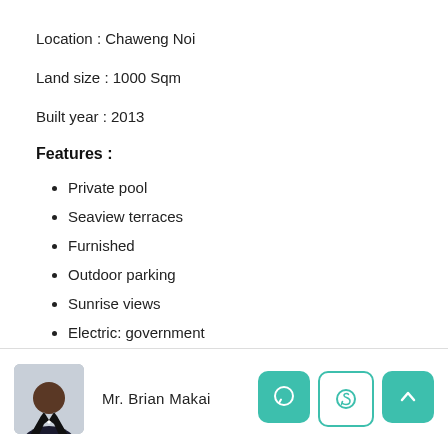Location : Chaweng Noi
Land size : 1000 Sqm
Built year : 2013
Features :
Private pool
Seaview terraces
Furnished
Outdoor parking
Sunrise views
Electric: government
Villa size : 176 Sqm x 2 villas
Mr. Brian Makai